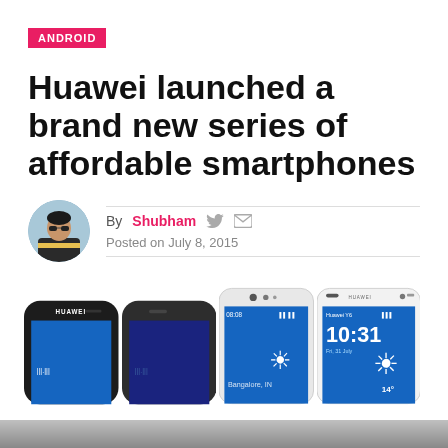ANDROID
Huawei launched a brand new series of affordable smartphones
By Shubham    Posted on July 8, 2015
[Figure (photo): Four Huawei smartphones shown from the top — two black/dark models on the left (cropped, showing top portion) and two white models on the right (full front view showing lock screen with time and weather widgets). Author avatar: circular photo of a young man wearing a yellow and dark sweater.]